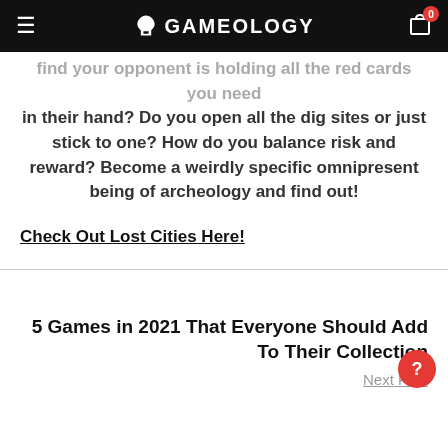GAMEOLOGY
find your opponent is holding all the red cards you need in their hand? Do you open all the dig sites or just stick to one? How do you balance risk and reward? Become a weirdly specific omnipresent being of archeology and find out!
Check Out Lost Cities Here!
5 Games in 2021 That Everyone Should Add To Their Collection
Next Post